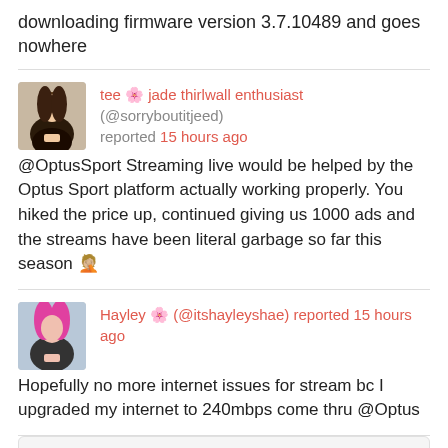downloading firmware version 3.7.10489 and goes nowhere
tee 🌸 jade thirlwall enthusiast (@sorryboutitjeed) reported 15 hours ago — @OptusSport Streaming live would be helped by the Optus Sport platform actually working properly. You hiked the price up, continued giving us 1000 ads and the streams have been literal garbage so far this season 🤦🏼
Hayley 🌸 (@itshayleyshae) reported 15 hours ago — Hopefully no more internet issues for stream bc I upgraded my internet to 240mbps come thru @Optus
Optus Support